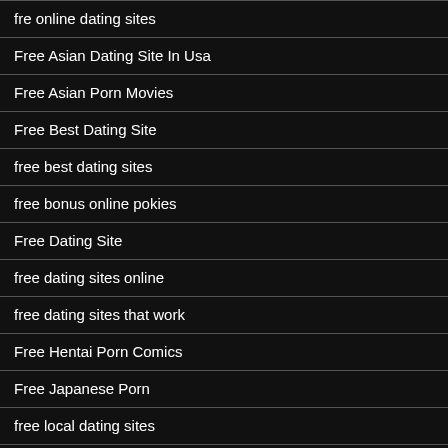fre online dating sites
Free Asian Dating Site In Usa
Free Asian Porn Movies
Free Best Dating Site
free best dating sites
free bonus online pokies
Free Dating Site
free dating sites online
free dating sites that work
Free Hentai Porn Comics
Free Japanese Porn
free local dating sites